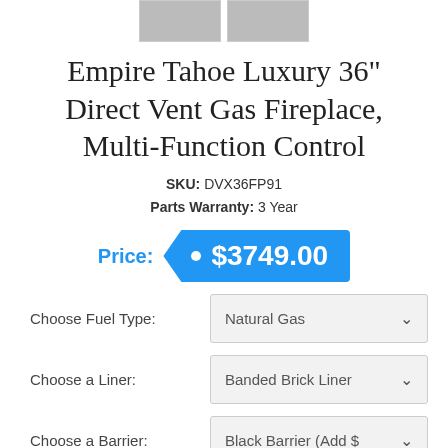[Figure (photo): Two small thumbnail product images at the top of the page]
Empire Tahoe Luxury 36" Direct Vent Gas Fireplace, Multi-Function Control
SKU: DVX36FP91
Parts Warranty: 3 Year
Price: $3749.00
Choose Fuel Type: Natural Gas
Choose a Liner: Banded Brick Liner
Choose a Barrier: Black Barrier (Add $